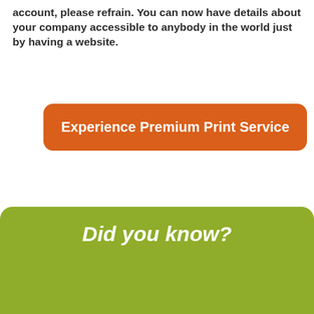account, please refrain. You can now have details about your company accessible to anybody in the world just by having a website.
[Figure (infographic): Orange rounded rectangle button with white bold text: Experience Premium Print Service]
Did you know?
The humble business card comes in many formats. Business cards types are Standard business card